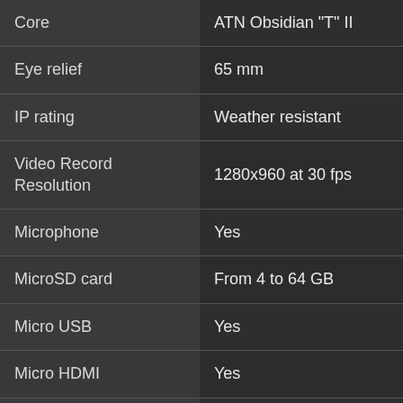| Feature | Value |
| --- | --- |
| Core | ATN Obsidian "T" II |
| Eye relief | 65 mm |
| IP rating | Weather resistant |
| Video Record Resolution | 1280x960 at 30 fps |
| Microphone | Yes |
| MicroSD card | From 4 to 64 GB |
| Micro USB | Yes |
| Micro HDMI | Yes |
| WiFi (Streaming, Gallery & Controls) | iOS & Android |
| Bluetooth | 4.1 |